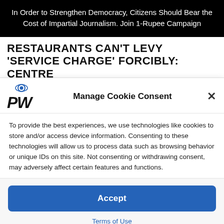In Order to Strengthen Democracy, Citizens Should Bear the Cost of Impartial Journalism. Join 1-Rupee Campaign
RESTAURANTS CAN'T LEVY 'SERVICE CHARGE' FORCIBLY: CENTRE
Manage Cookie Consent
To provide the best experiences, we use technologies like cookies to store and/or access device information. Consenting to these technologies will allow us to process data such as browsing behavior or unique IDs on this site. Not consenting or withdrawing consent, may adversely affect certain features and functions.
Accept
Terms of Use